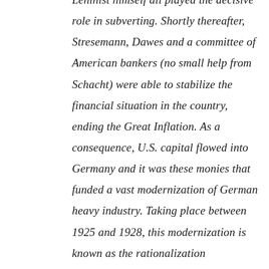Leninist himself all played the decisive role in subverting. Shortly thereafter, Stresemann, Dawes and a committee of American bankers (no small help from Schacht) were able to stabilize the financial situation in the country, ending the Great Inflation. As a consequence, U.S. capital flowed into Germany and it was these monies that funded a vast modernization of German heavy industry. Taking place between 1925 and 1928, this modernization is known as the rationalization movement.